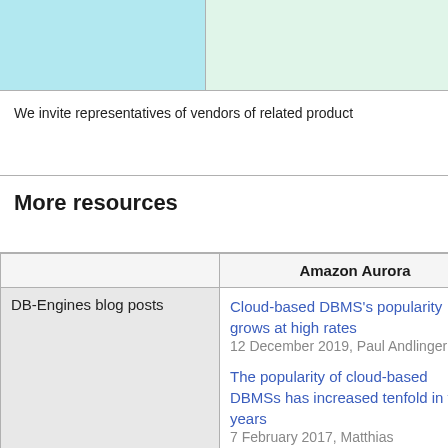[Figure (other): Two colored cells at the top of a table row: left cell is light blue/cyan, right cell is light green/mint.]
We invite representatives of vendors of related product
More resources
|  | Amazon Aurora |
| --- | --- |
| DB-Engines blog posts | Cloud-based DBMS's popularity grows at high rates
12 December 2019, Paul Andlinger

The popularity of cloud-based DBMSs has increased tenfold in four years
7 February 2017, Matthias |